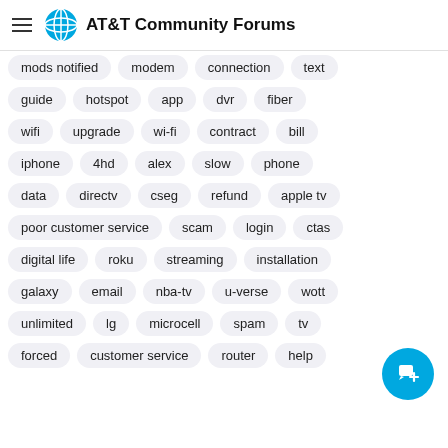AT&T Community Forums
mods notified
modem
connection
text
guide
hotspot
app
dvr
fiber
wifi
upgrade
wi-fi
contract
bill
iphone
4hd
alex
slow
phone
data
directv
cseg
refund
apple tv
poor customer service
scam
login
ctas
digital life
roku
streaming
installation
galaxy
email
nba-tv
u-verse
wott
unlimited
lg
microcell
spam
tv
forced
customer service
router
help